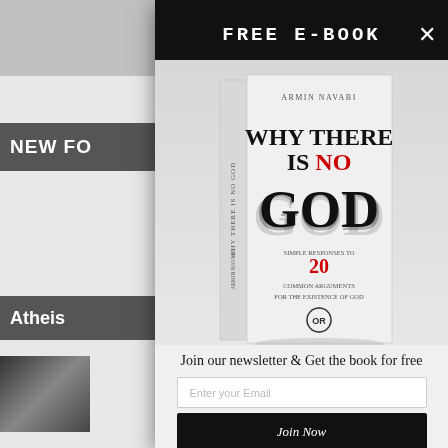FREE E-BOOK
[Figure (photo): Book cover of 'Why There Is No God' by Armin Navabi, showing bold title text with smoky effect around the word GOD, subtitle '20 Common Arguments for the Existence of God']
Join our newsletter & Get the book for free
Enter your Email
Join Now
No Thanks